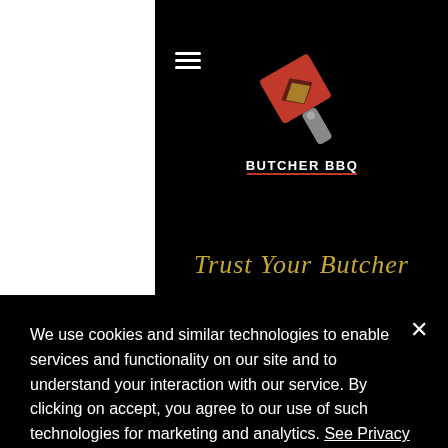[Figure (logo): Butcher BBQ logo with cleaver icon and text 'BUTCHER BBQ']
Trust Your Butcher
BBQ LIKE A CHAMPION
Butcher BBQ has everthing you need for how to smoke Texas brisket ,best bbq seasoning, best brisket rub for smoking,
We use cookies and similar technologies to enable services and functionality on our site and to understand your interaction with our service. By clicking on accept, you agree to our use of such technologies for marketing and analytics. See Privacy Policy